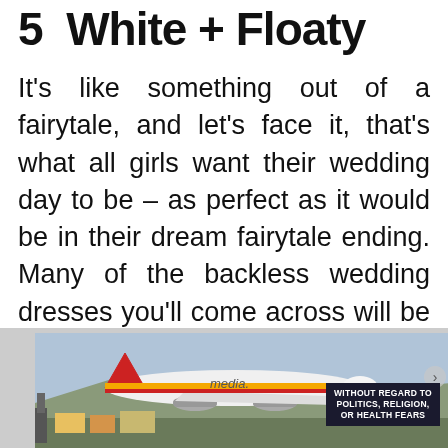5 White + Floaty
It's like something out of a fairytale, and let's face it, that's what all girls want their wedding day to be – as perfect as it would be in their dream fairytale ending. Many of the backless wedding dresses you'll come across will be slender and slinky, but this one shows that you can add some volume without it looking too much. In fact, with the lace bodice on this beautiful design, we don't think it's too much at
[Figure (photo): Advertisement banner showing an airplane being loaded with cargo, with an overlay badge reading 'WITHOUT REGARD TO POLITICS, RELIGION, OR HEALTH FEARS' and a 'media' watermark label]